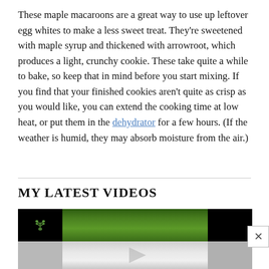These maple macaroons are a great way to use up leftover egg whites to make a less sweet treat. They're sweetened with maple syrup and thickened with arrowroot, which produces a light, crunchy cookie. These take quite a while to bake, so keep that in mind before you start mixing. If you find that your finished cookies aren't quite as crisp as you would like, you can extend the cooking time at low heat, or put them in the dehydrator for a few hours. (If the weather is humid, they may absorb moisture from the air.)
MY LATEST VIDEOS
[Figure (screenshot): Video thumbnail strip showing a dark left panel with a green plant icon, a green grass/nature center panel, and a dark right panel on top; below is a lighter gray strip suggesting a video preview.]